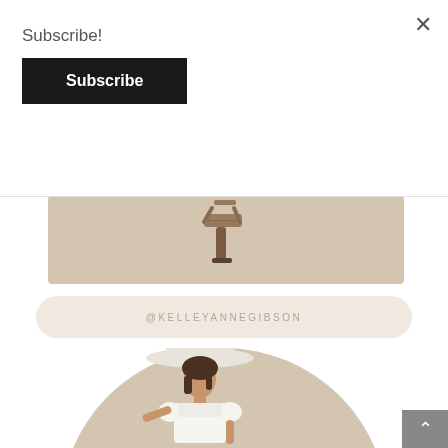Subscribe!
Subscribe
[Figure (photo): A beige/tan rectangle showing the bottom of a sandal/heel shoe on a light beige background]
@KELLEYANNEGIBSON
Effie Satin Crochet Lace Peplum Blouse
[Figure (photo): A woman wearing a white dress with puff sleeves and a wide-brim white hat, standing against an arched beige/tan circular background]